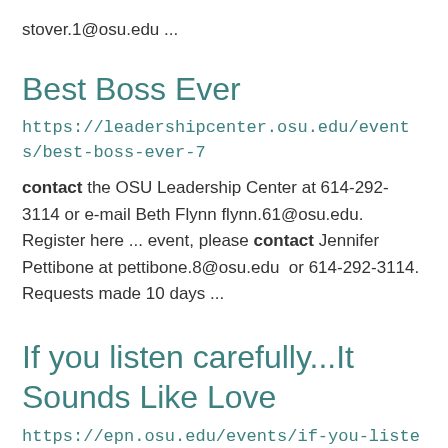stover.1@osu.edu ...
Best Boss Ever
https://leadershipcenter.osu.edu/events/best-boss-ever-7
contact the OSU Leadership Center at 614-292-3114 or e-mail Beth Flynn flynn.61@osu.edu. Register here ... event, please contact Jennifer Pettibone at pettibone.8@osu.edu  or 614-292-3114. Requests made 10 days ...
If you listen carefully...It Sounds Like Love
https://epn.osu.edu/events/if-you-listen-